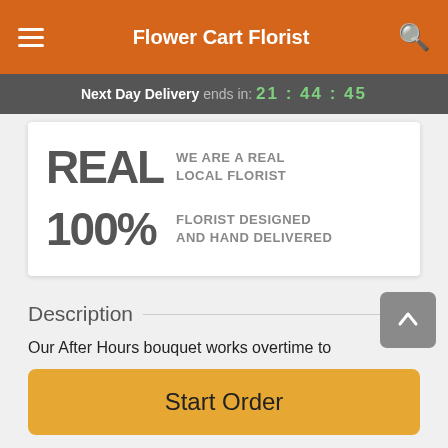Flower Cart Florist
Next Day Delivery ends in: 21:44:45
REAL WE ARE A REAL LOCAL FLORIST
100% FLORIST DESIGNED AND HAND DELIVERED
Description
Our After Hours bouquet works overtime to pamper your sweetheart. Surprise your special someone with the perfect
Start Order